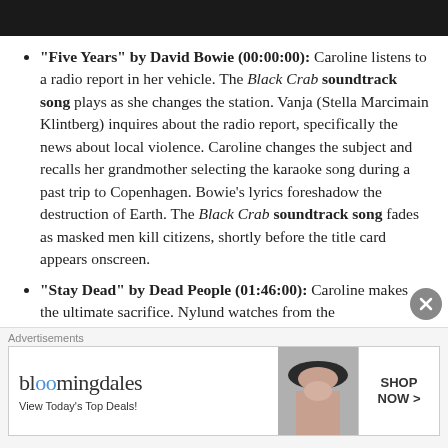[Figure (photo): Dark image at top of page]
"Five Years" by David Bowie (00:00:00): Caroline listens to a radio report in her vehicle. The Black Crab soundtrack song plays as she changes the station. Vanja (Stella Marcimain Klintberg) inquires about the radio report, specifically the news about local violence. Caroline changes the subject and recalls her grandmother selecting the karaoke song during a past trip to Copenhagen. Bowie's lyrics foreshadow the destruction of Earth. The Black Crab soundtrack song fades as masked men kill citizens, shortly before the title card appears onscreen.
"Stay Dead" by Dead People (01:46:00): Caroline makes the ultimate sacrifice. Nylund watches from the
Advertisements
[Figure (screenshot): Bloomingdale's advertisement banner: 'bloomingdales - View Today's Top Deals! SHOP NOW >']